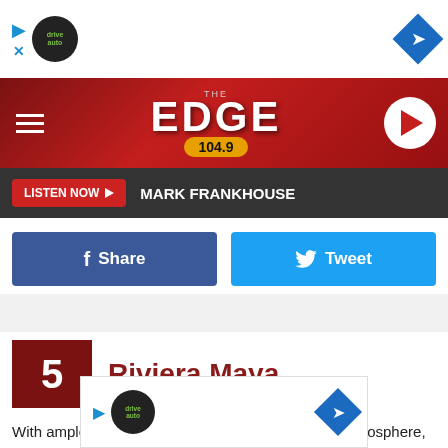[Figure (screenshot): Top advertisement banner with drive auto logo and navigation diamond icon]
THE EDGE 104.9
LISTEN NOW ▶  MARK FRANKHOUSE
[Figure (screenshot): Facebook Share button and Twitter Tweet button]
5  Riviera Maya
With ample seating for large groups and a festive atmosphere, Riviera Maya, 5036 S. Westnedge, is recommended for authentic food and generous portions.
[Figure (screenshot): Bottom advertisement banner with drive auto logo and navigation diamond icon]